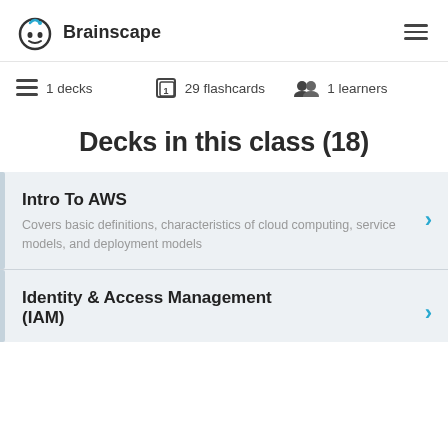Brainscape
1 decks   29 flashcards   1 learners
Decks in this class (18)
Intro To AWS
Covers basic definitions, characteristics of cloud computing, service models, and deployment models
Identity & Access Management (IAM)